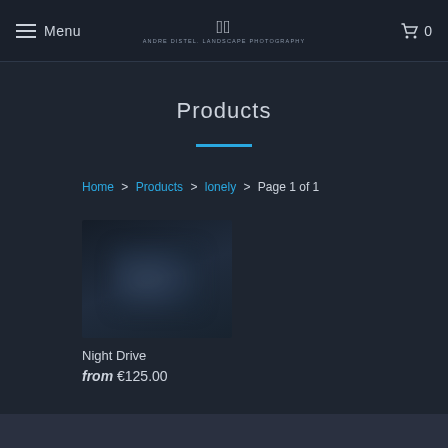Menu | Andre Distel Landscape Photography | Cart 0
Products
Home > Products > lonely > Page 1 of 1
[Figure (photo): Product thumbnail showing Night Drive photograph, dark night scene]
Night Drive
from €125.00